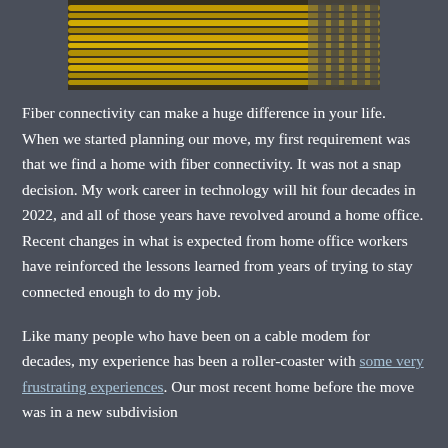[Figure (photo): Photo of bundled yellow fiber optic cables against a dark background, showing many cables wound together in parallel strands.]
Fiber connectivity can make a huge difference in your life. When we started planning our move, my first requirement was that we find a home with fiber connectivity. It was not a snap decision. My work career in technology will hit four decades in 2022, and all of those years have revolved around a home office. Recent changes in what is expected from home office workers have reinforced the lessons learned from years of trying to stay connected enough to do my job.
Like many people who have been on a cable modem for decades, my experience has been a roller-coaster with some very frustrating experiences. Our most recent home before the move was in a new subdivision